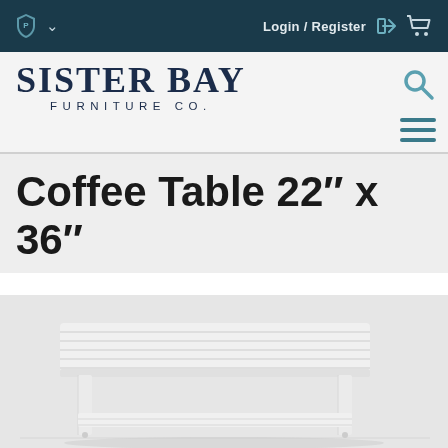Login / Register
[Figure (logo): Sister Bay Furniture Co. logo with serif text]
Coffee Table 22" x 36"
[Figure (photo): White painted wooden coffee table with slatted top surface and lower shelf, viewed from a slightly elevated angle]